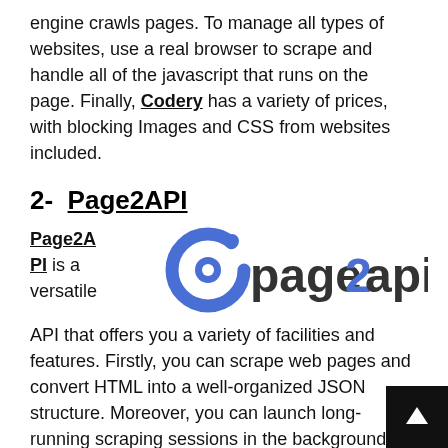engine crawls pages. To manage all types of websites, use a real browser to scrape and handle all of the javascript that runs on the page. Finally, Codery has a variety of prices, with blocking Images and CSS from websites included.
2-  Page2API
[Figure (logo): Page2API logo: a blue circular arrow/pin icon on the left and the text 'page2api' in dark gray bold letters on the right]
Page2API is a versatile API that offers you a variety of facilities and features. Firstly, you can scrape web pages and convert HTML into a well-organized JSON structure. Moreover, you can launch long-running scraping sessions in the background and receive the obtained data via a webhook (callback URL).